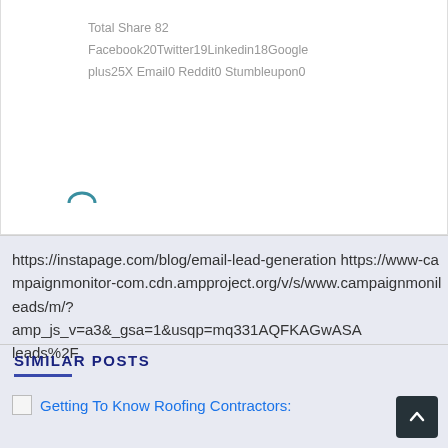Total Share 82
Facebook20Twitter19Linkedin18Googleplus25X Email0 Reddit0 Stumbleupon0
https://instapage.com/blog/email-lead-generation https://www-campaignmonitor-com.cdn.ampproject.org/v/s/www.campaignmonitor-leads/m/?amp_js_v=a3&_gsa=1&usqp=mq331AQFKAGwASAleads%2F
SIMILAR POSTS
Getting To Know Roofing Contractors: